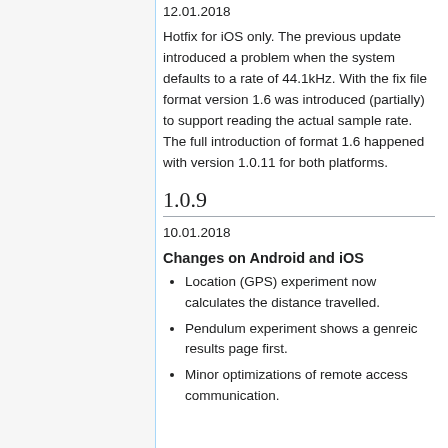12.01.2018
Hotfix for iOS only. The previous update introduced a problem when the system defaults to a rate of 44.1kHz. With the fix file format version 1.6 was introduced (partially) to support reading the actual sample rate. The full introduction of format 1.6 happened with version 1.0.11 for both platforms.
1.0.9
10.01.2018
Changes on Android and iOS
Location (GPS) experiment now calculates the distance travelled.
Pendulum experiment shows a genreic results page first.
Minor optimizations of remote access communication.